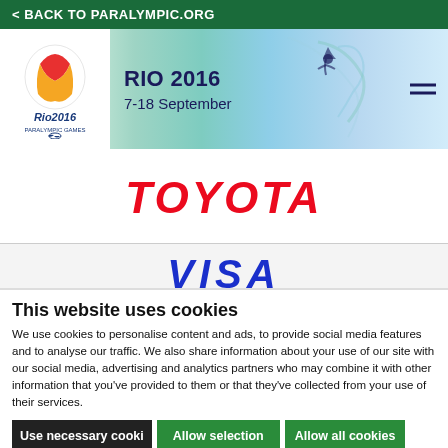< BACK TO PARALYMPIC.ORG
[Figure (screenshot): Rio 2016 Paralympic Games header banner with logo, dates 7-18 September, and colorful background with athlete silhouette]
[Figure (logo): TOYOTA logo in red italic letters]
[Figure (logo): Partially visible VISA logo in blue italic letters]
This website uses cookies
We use cookies to personalise content and ads, to provide social media features and to analyse our traffic. We also share information about your use of our site with our social media, advertising and analytics partners who may combine it with other information that you've provided to them or that they've collected from your use of their services.
Use necessary cooki | Allow selection | Allow all cookies
Necessary   Preferences   Statistics   Show details   Marketing